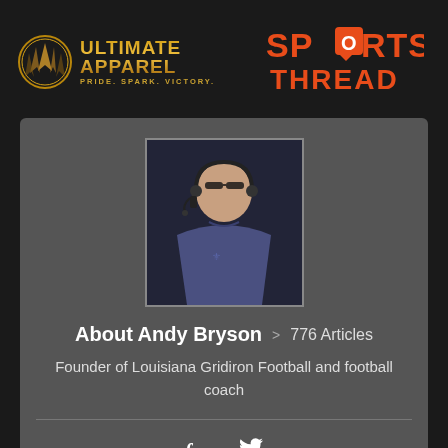[Figure (logo): Ultimate Apparel logo with gold mountain/spike emblem and text 'ULTIMATE APPAREL PRIDE. SPARK. VICTORY.']
[Figure (logo): Sports Thread logo in orange with speech bubble replacing the O in SPORTS]
[Figure (photo): Profile photo of Andy Bryson wearing headset, appears to be a football coach on sideline]
About Andy Bryson > 776 Articles
Founder of Louisiana Gridiron Football and football coach